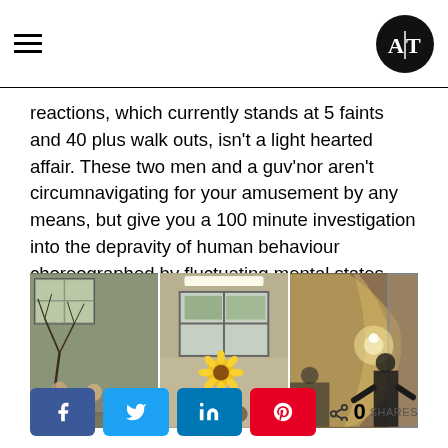AT logo and hamburger menu
reactions, which currently stands at 5 faints and 40 plus walk outs, isn't a light hearted affair. These two men and a guv'nor aren't circumnavigating for your amusement by any means, but give you a 100 minute investigation into the depravity of human behaviour choreographed by fluctuating mental states and consciousness in a way that would have Freud lighting up his pipe six foot under in smug self-praise.
[Figure (photo): Three-panel photo strip showing theatrical scenes in a dilapidated building interior: left panel shows actors seated near bare tree branches and window; centre panel shows a sunflower and window; right panel shows a figure against a damaged wall with dramatic lighting.]
0 SHARES